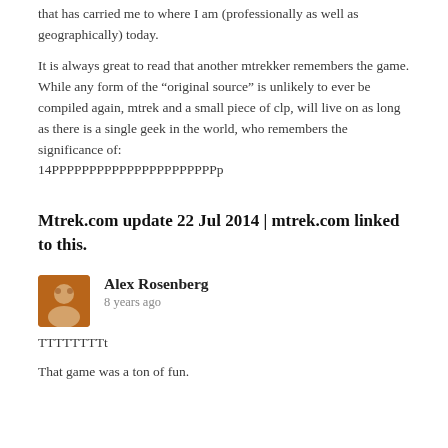that has carried me to where I am (professionally as well as geographically) today.
It is always great to read that another mtrekker remembers the game. While any form of the “original source” is unlikely to ever be compiled again, mtrek and a small piece of clp, will live on as long as there is a single geek in the world, who remembers the significance of: 14PPPPPPPPPPPPPPPPPPPPPPp
Mtrek.com update 22 Jul 2014 | mtrek.com linked to this.
Alex Rosenberg
8 years ago
TTTTTTTTt
That game was a ton of fun.